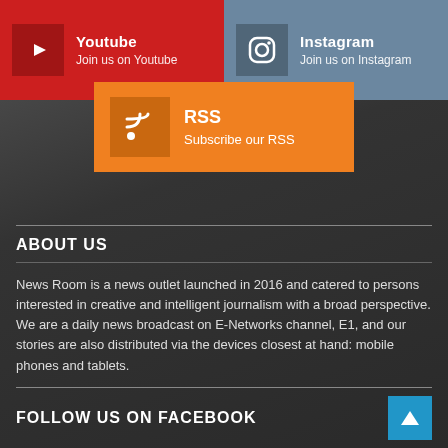[Figure (infographic): YouTube social button: red background with play icon, text 'Youtube' and 'Join us on Youtube']
[Figure (infographic): Instagram social button: blue-grey background with Instagram icon, text 'Instagram' and 'Join us on Instagram']
[Figure (infographic): RSS social button: orange background with RSS icon, text 'RSS' and 'Subscribe our RSS']
ABOUT US
News Room is a news outlet launched in 2016 and catered to persons interested in creative and intelligent journalism with a broad perspective. We are a daily news broadcast on E-Networks channel, E1, and our stories are also distributed via the devices closest at hand: mobile phones and tablets.
FOLLOW US ON FACEBOOK